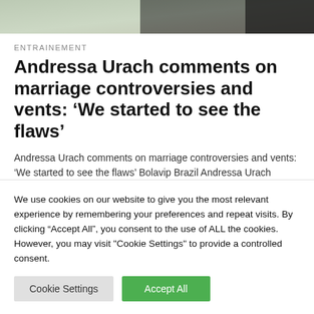[Figure (photo): Partial photo strip at top of page showing a person in dark clothing and some background]
ENTRAINEMENT
Andressa Urach comments on marriage controversies and vents: ‘We started to see the flaws’
Andressa Urach comments on marriage controversies and vents: ‘We started to see the flaws’ Bolavip Brazil Andressa Urach Highlights (Bi...
We use cookies on our website to give you the most relevant experience by remembering your preferences and repeat visits. By clicking “Accept All”, you consent to the use of ALL the cookies. However, you may visit "Cookie Settings" to provide a controlled consent.